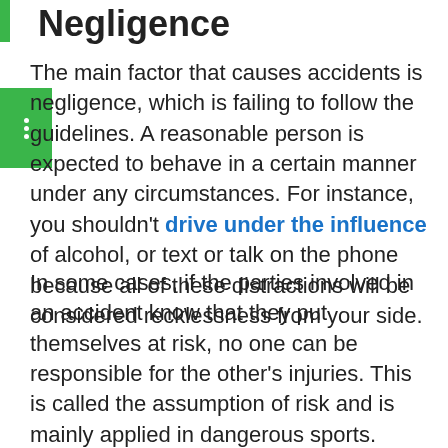Negligence
The main factor that causes accidents is negligence, which is failing to follow the guidelines. A reasonable person is expected to behave in a certain manner under any circumstances. For instance, you shouldn't drive under the influence of alcohol, or text or talk on the phone because all of these distractions will be considered recklessness from your side.
In some cases, if the parties involved in an accident know that they put themselves at risk, no one can be responsible for the other's injuries. This is called the assumption of risk and is mainly applied in dangerous sports. Those participating cannot file a claim even if the other person is reckless because